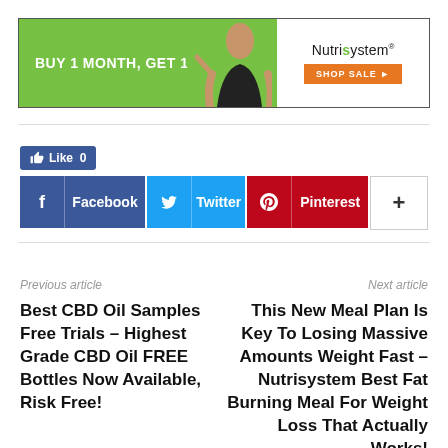[Figure (other): Nutrisystem advertisement banner: BUY 1 MONTH, GET 1 free! with woman photo and SHOP SALE button]
[Figure (other): Like 0 Facebook like button (blue)]
[Figure (other): Social share buttons: Facebook, Twitter, Pinterest, and More (+)]
Previous article
Next article
Best CBD Oil Samples Free Trials – Highest Grade CBD Oil FREE Bottles Now Available, Risk Free!
This New Meal Plan Is Key To Losing Massive Amounts Weight Fast – Nutrisystem Best Fat Burning Meal For Weight Loss That Actually Works!